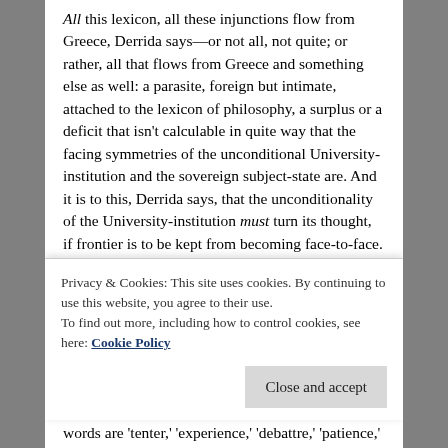All this lexicon, all these injunctions flow from Greece, Derrida says—or not all, not quite; or rather, all that flows from Greece and something else as well: a parasite, foreign but intimate, attached to the lexicon of philosophy, a surplus or a deficit that isn't calculable in quite way that the facing symmetries of the unconditional University-institution and the sovereign subject-state are. And it is to this, Derrida says, that the unconditionality of the University-institution must turn its thought, if frontier is to be kept from becoming face-to-face. This something else, this almost nothing, marks the difference in the narcissistic circuit binding the contemporary speaker to the genealogical source on which he casts his voice, only to answer it. Presque rien: almost nothing marks the
Privacy & Cookies: This site uses cookies. By continuing to use this website, you agree to their use. To find out more, including how to control cookies, see here: Cookie Policy
words are 'tenter,' 'experience,' 'debattre,' 'patience,'